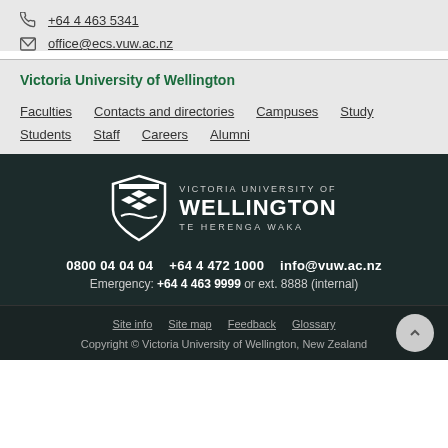+64 4 463 5341
office@ecs.vuw.ac.nz
Victoria University of Wellington
Faculties
Contacts and directories
Campuses
Study
Students
Staff
Careers
Alumni
[Figure (logo): Victoria University of Wellington Te Herenga Waka shield logo in white on dark background]
0800 04 04 04   +64 4 472 1000   info@vuw.ac.nz
Emergency: +64 4 463 9999 or ext. 8888 (internal)
Site info   Site map   Feedback   Glossary
Copyright © Victoria University of Wellington, New Zealand